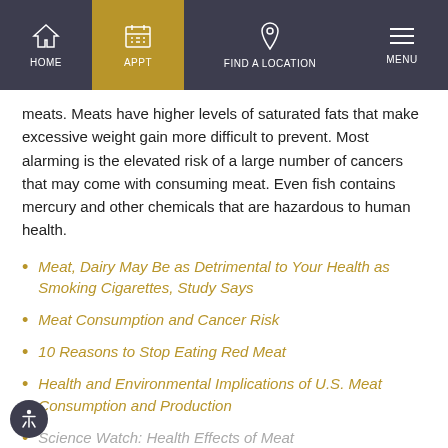HOME | APPT | FIND A LOCATION | MENU
meats. Meats have higher levels of saturated fats that make excessive weight gain more difficult to prevent. Most alarming is the elevated risk of a large number of cancers that may come with consuming meat. Even fish contains mercury and other chemicals that are hazardous to human health.
Meat, Dairy May Be as Detrimental to Your Health as Smoking Cigarettes, Study Says
Meat Consumption and Cancer Risk
10 Reasons to Stop Eating Red Meat
Health and Environmental Implications of U.S. Meat Consumption and Production
Science Watch: Health Effects of Meat